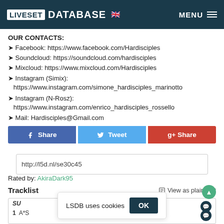LIVESET DATABASE — MENU
OUR CONTACTS:
➤ Facebook: https://www.facebook.com/Hardisciples
➤ Soundcloud: https://soundcloud.com/hardisciples
➤ Mixcloud: https://www.mixcloud.com/Hardisciples
➤ Instagram (Simix): https://www.instagram.com/simone_hardisciples_marinotto
➤ Instagram (N-Rosz): https://www.instagram.com/enrico_hardisciples_rossello
➤ Mail: Hardisciples@Gmail.com
Share | Tweet | g+ Share
http://l5d.nl/se30c45
Rated by: AkiraDark95
Tracklist
View as plain text
LSDB uses cookies OK